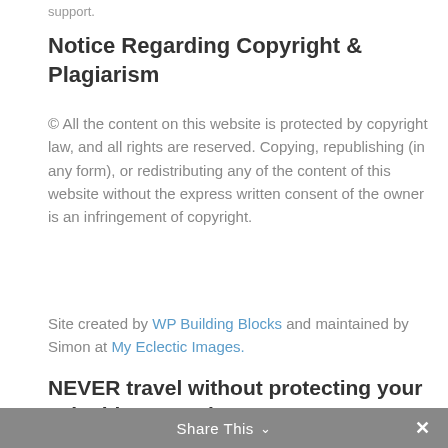support.
Notice Regarding Copyright & Plagiarism
© All the content on this website is protected by copyright law, and all rights are reserved. Copying, republishing (in any form), or redistributing any of the content of this website without the express written consent of the owner is an infringement of copyright.
Site created by WP Building Blocks and maintained by Simon at My Eclectic Images.
NEVER travel without protecting your valuables – we don't!
[Figure (photo): Image placeholder at bottom of section]
Share This ∨  ✕